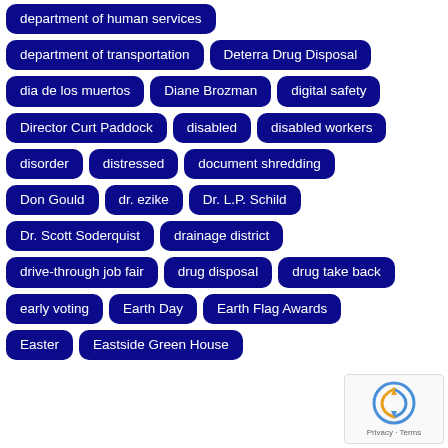department of human services
department of transportation
Deterra Drug Disposal
dia de los muertos
Diane Brozman
digital safety
Director Curt Paddock
disabled
disabled workers
disorder
distressed
document shredding
Don Gould
dr. ezike
Dr. L.P. Schild
Dr. Scott Soderquist
drainage district
drive-through job fair
drug disposal
drug take back
early voting
Earth Day
Earth Flag Awards
Easter
Eastside Green House